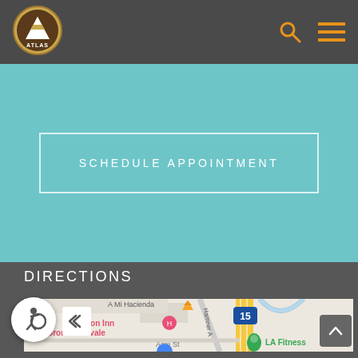[Figure (logo): Atlas logo with mountain icon in circular badge]
SCHEDULE APPOINTMENT
DIRECTIONS
[Figure (map): Google Maps screenshot showing Hampton Inn rco-Corona-Eastvale, LA Fitness, A Mi Hacienda, Hamner Ave, Interstate 15, Acre St]